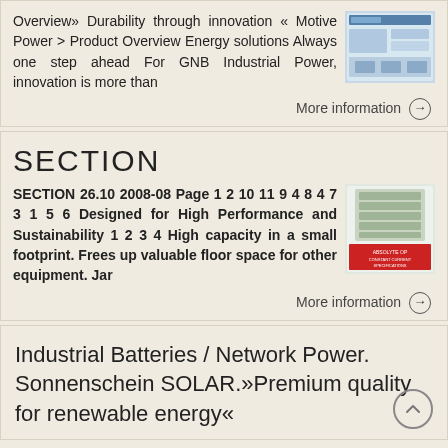Overview» Durability through innovation « Motive Power > Product Overview Energy solutions Always one step ahead For GNB Industrial Power, innovation is more than
[Figure (screenshot): Thumbnail image of GNB Industrial Power product or webpage showing batteries]
More information →
SECTION
SECTION 26.10 2008-08 Page 1 2 10 11 9 4 8 4 7 3 1 5 6 Designed for High Performance and Sustainability 1 2 3 4 High capacity in a small footprint. Frees up valuable floor space for other equipment. Jar
[Figure (screenshot): Thumbnail image of Absolyte OP Constant Current Specifications document cover]
More information →
Industrial Batteries / Network Power. Sonnenschein SOLAR.»Premium quality for renewable energy«